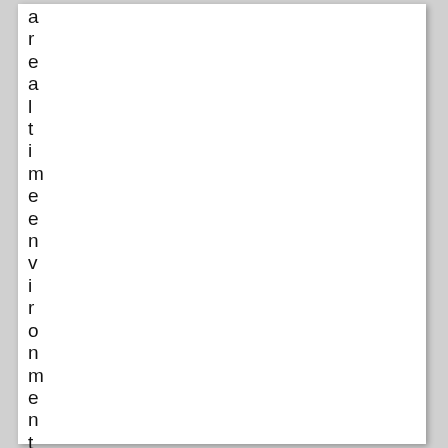a r e a l t i m e e n v i r o n m e n t o f C i s